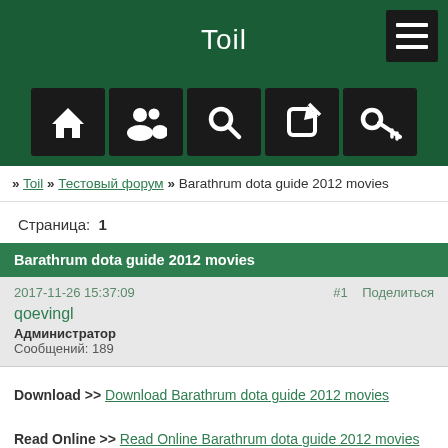Toil
[Figure (screenshot): Navigation bar with home, users, search, edit, and key icons]
» Toil » Тестовый форум » Barathrum dota guide 2012 movies
Страница:  1
Barathrum dota guide 2012 movies
2017-11-26 15:37:09  #1  Поделиться
qoevingl
Администратор
Сообщений: 189
Download >> Download Barathrum dota guide 2012 movies

Read Online >> Read Online Barathrum dota guide 2012 movies